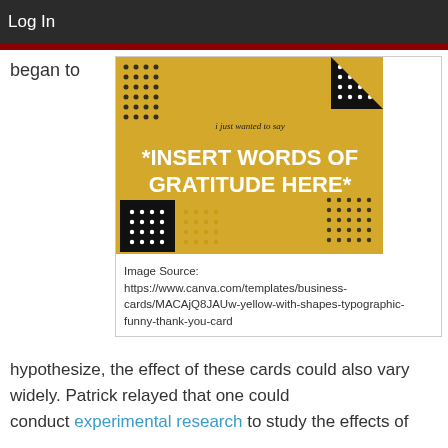Log In
began to
[Figure (illustration): Yellow decorative card with black geometric shapes and dots. Text reads: 'i just wanted to say' and '*INSERT WORDS OF GRATITUDE HERE*' in bold white uppercase letters.]
Image Source: https://www.canva.com/templates/business-cards/MACAjQ8JAUw-yellow-with-shapes-typographic-funny-thank-you-card
hypothesize, the effect of these cards could also vary widely. Patrick relayed that one could conduct experimental research to study the effects of